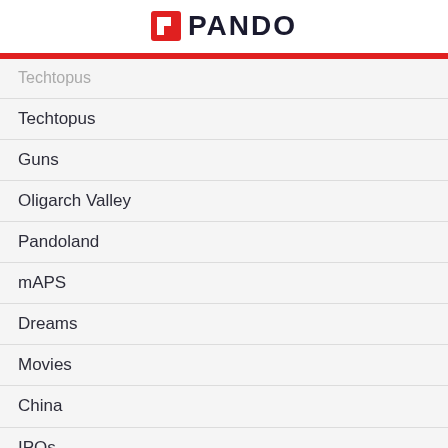PANDO
Techtopus
Techtopus
Guns
Oligarch Valley
Pandoland
mAPS
Dreams
Movies
China
IPOs
Snowdon't
Food
"True" Libertarianism